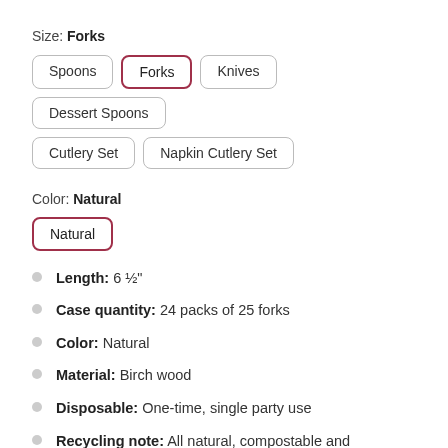Size: Forks
Spoons | Forks (selected) | Knives | Dessert Spoons | Cutlery Set | Napkin Cutlery Set
Color: Natural
Natural (selected)
Length: 6 ½"
Case quantity: 24 packs of 25 forks
Color: Natural
Material: Birch wood
Disposable: One-time, single party use
Recycling note: All natural, compostable and biodegradable, with no binders or chemicals.